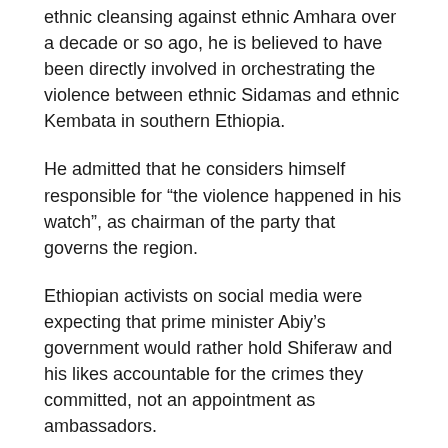ethnic cleansing against ethnic Amhara over a decade or so ago, he is believed to have been directly involved in orchestrating the violence between ethnic Sidamas and ethnic Kembata in southern Ethiopia.
He admitted that he considers himself responsible for “the violence happened in his watch”, as chairman of the party that governs the region.
Ethiopian activists on social media were expecting that prime minister Abiy’s government would rather hold Shiferaw and his likes accountable for the crimes they committed, not an appointment as ambassadors.
Analysts claim that appointing politicians, who committed crimes, as ambassadors do not just constitute a bad practice but also a denial of justice to victims and tend to contravene Abiy’s Ahmed’s expressed commitment for justice.